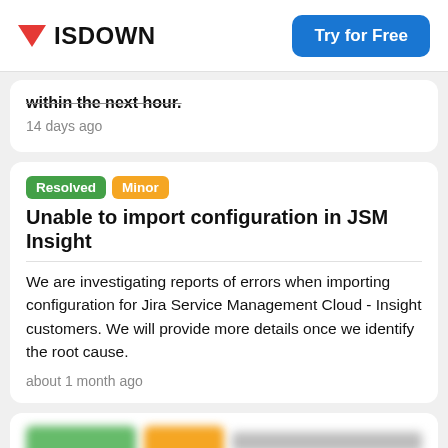ISDOWN | Try for Free
within the next hour.
14 days ago
Resolved Minor Unable to import configuration in JSM Insight
We are investigating reports of errors when importing configuration for Jira Service Management Cloud - Insight customers. We will provide more details once we identify the root cause.
about 1 month ago